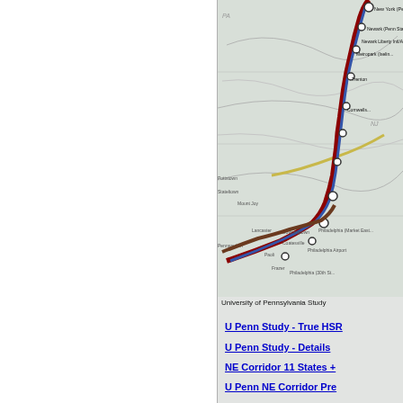[Figure (map): Partial map showing the Northeast Corridor rail route from Philadelphia area toward New York, with labeled stations including New York (Penn-Moynihan), Newark, Metropark, Trenton, Philadelphia 30th St, Philadelphia Market East, Philadelphia Airport, and others. Rail lines shown in red/dark colors overlaid on a light gray geographic map.]
University of Pennsylvania Study
U Penn Study - True HSR
U Penn Study - Details
NE Corridor 11 States +
U Penn NE Corridor Pre
Conference attendees will
Leading high speed rail from around the world
Profitable private rail op
Members of Congress
Governors